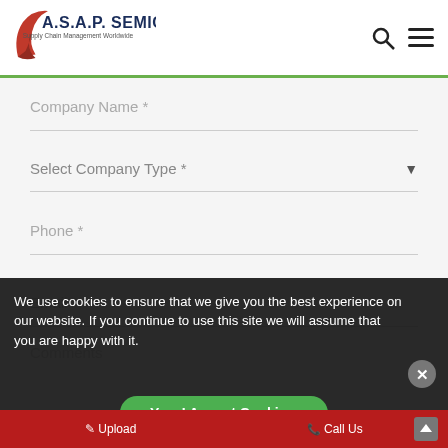[Figure (logo): A.S.A.P. Semiconductor logo with red swoosh and tagline 'Supply Chain Management Worldwide']
Company Name *
Select Company Type *
Phone *
Email *
Comments
We use cookies to ensure that we give you the best experience on our website. If you continue to use this site we will assume that you are happy with it.
Yes, I Accept Cookies.